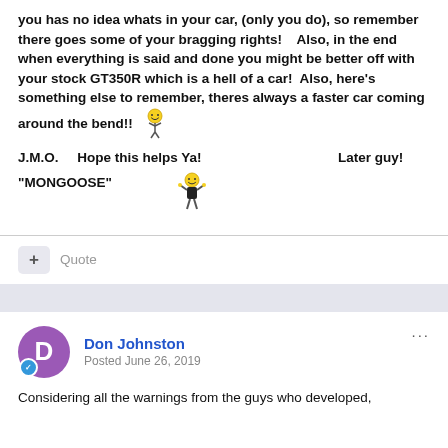you has no idea whats in your car, (only you do), so remember there goes some of your bragging rights!    Also, in the end when everything is said and done you might be better off with your stock GT350R which is a hell of a car!  Also, here's something else to remember, theres always a faster car coming around the bend!!  [smiley emoji]
J.M.O.      Hope this helps Ya!                        Later guy!
"MONGOOSE"  [flex guy emoji]
+ Quote
Don Johnston
Posted June 26, 2019
Considering all the warnings from the guys who developed,